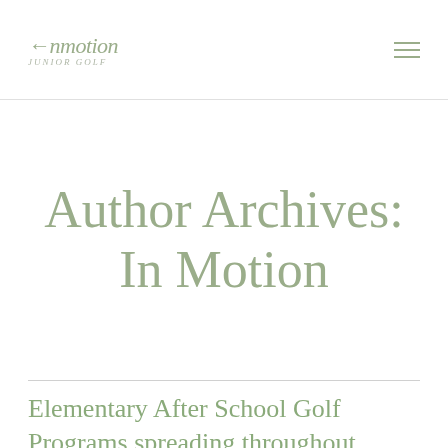InMotion Junior Golf
Author Archives: In Motion
Elementary After School Golf Programs spreading throughout